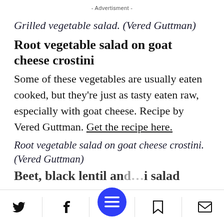- Advertisment -
Grilled vegetable salad. (Vered Guttman)
Root vegetable salad on goat cheese crostini
Some of these vegetables are usually eaten cooked, but they're just as tasty eaten raw, especially with goat cheese. Recipe by Vered Guttman. Get the recipe here.
Root vegetable salad on goat cheese crostini. (Vered Guttman)
Beet, black lentil and... salad